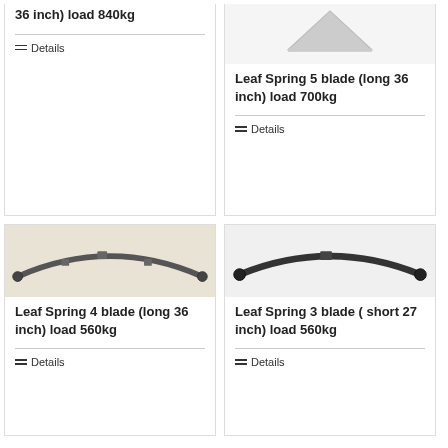[Figure (photo): Partial view of a leaf spring product card, top cut off, showing title '36 inch) load 840kg' and a Details link]
[Figure (photo): Leaf spring photo partially visible at top with a Details button below, title 'Leaf Spring 5 blade (long 36 inch) load 700kg']
[Figure (photo): Photo of a leaf spring (4 blade, long 36 inch) on beige background, curved metal spring]
Leaf Spring 4 blade (long 36 inch) load 560kg
[Figure (photo): Photo of a leaf spring (3 blade, short 27 inch) on light background, curved dark metal spring]
Leaf Spring 3 blade ( short 27 inch) load 560kg